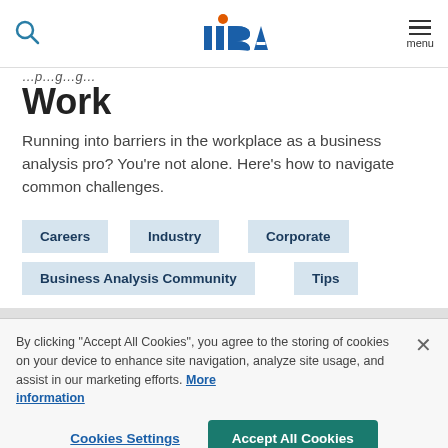IIBA logo, search icon, menu
Work
Running into barriers in the workplace as a business analysis pro? You’re not alone. Here’s how to navigate common challenges.
Careers
Industry
Corporate
Business Analysis Community
Tips
By clicking “Accept All Cookies”, you agree to the storing of cookies on your device to enhance site navigation, analyze site usage, and assist in our marketing efforts. More information
Cookies Settings
Accept All Cookies